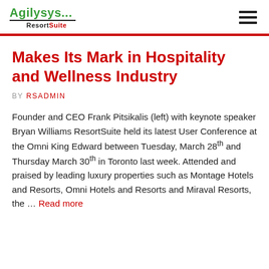Agilysys... ResortSuite
Makes Its Mark in Hospitality and Wellness Industry
BY RSADMIN
Founder and CEO Frank Pitsikalis (left) with keynote speaker Bryan Williams ResortSuite held its latest User Conference at the Omni King Edward between Tuesday, March 28th and Thursday March 30th in Toronto last week. Attended and praised by leading luxury properties such as Montage Hotels and Resorts, Omni Hotels and Resorts and Miraval Resorts, the … Read more